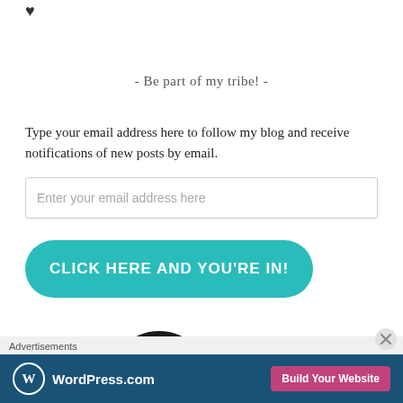♥
- Be part of my tribe! -
Type your email address here to follow my blog and receive notifications of new posts by email.
Enter your email address here
[Figure (other): Teal rounded rectangle button with white bold text: CLICK HERE AND YOU'RE IN!]
[Figure (logo): Circular black logo with cursive white text (partial, cut off at bottom)]
Advertisements
WordPress.com  Build Your Website